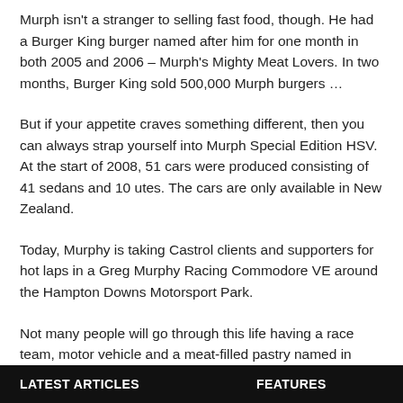Murph isn't a stranger to selling fast food, though. He had a Burger King burger named after him for one month in both 2005 and 2006 – Murph's Mighty Meat Lovers. In two months, Burger King sold 500,000 Murph burgers …
But if your appetite craves something different, then you can always strap yourself into Murph Special Edition HSV. At the start of 2008, 51 cars were produced consisting of 41 sedans and 10 utes. The cars are only available in New Zealand.
Today, Murphy is taking Castrol clients and supporters for hot laps in a Greg Murphy Racing Commodore VE around the Hampton Downs Motorsport Park.
Not many people will go through this life having a race team, motor vehicle and a meat-filled pastry named in honour of them … and add that to his other personal backers Monster Energy Drinks, MTA, Powerbuilt, XXXX and more, popularity at home isn't a
LATEST ARTICLES    FEATURES